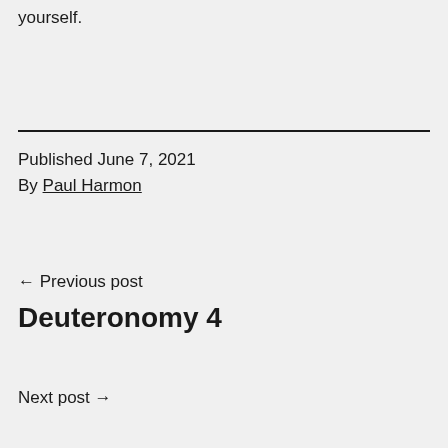yourself.
Published June 7, 2021
By Paul Harmon
← Previous post
Deuteronomy 4
Next post →